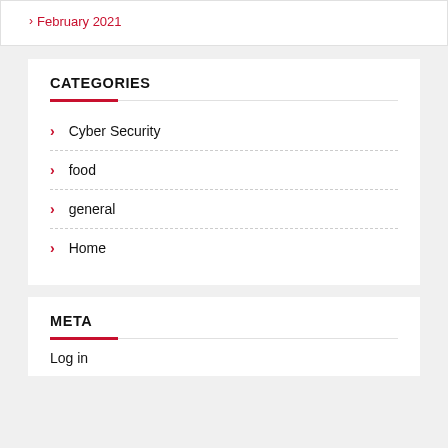February 2021
CATEGORIES
Cyber Security
food
general
Home
META
Log in